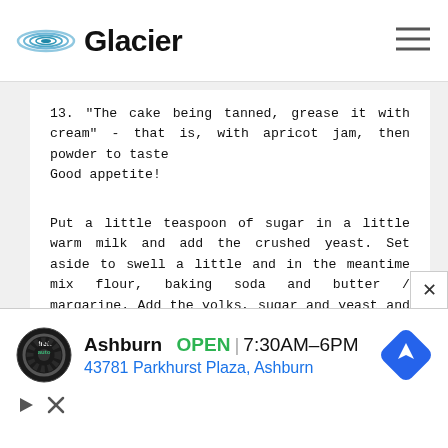Glacier
13. "The cake being tanned, grease it with cream" - that is, with apricot jam, then powder to taste
Good appetite!
Put a little teaspoon of sugar in a little warm milk and add the crushed yeast. Set aside to swell a little and in the meantime mix flour, baking soda and butter / margarine. Add the yolks, sugar and yeast and start kneading until you get an
[Figure (infographic): Advertisement banner for Tire & Auto service in Ashburn showing: logo, name 'Ashburn', OPEN status, hours 7:30AM–6PM, address 43781 Parkhurst Plaza, Ashburn, navigation icon]